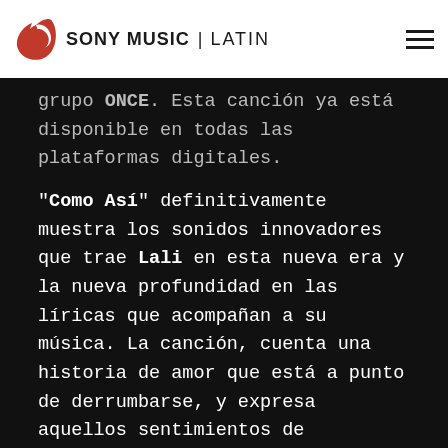SONY MUSIC | LATIN
grupo ONCE. Esta canción ya está disponible en todas las plataformas digitales.
"Como Así" definitivamente muestra los sonidos innovadores que trae Lali en esta nueva era y la nueva profundidad en las líricas que acompañan a su música. La canción, cuenta una historia de amor que está a punto de derrumbarse, y expresa aquellos sentimientos de esperanza de querer salvarlo todo